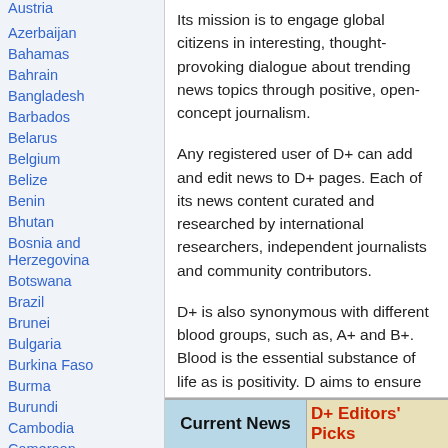Austria
Azerbaijan
Bahamas
Bahrain
Bangladesh
Barbados
Belarus
Belgium
Belize
Benin
Bhutan
Bosnia and Herzegovina
Botswana
Brazil
Brunei
Bulgaria
Burkina Faso
Burma
Burundi
Cambodia
Cameroon
Canada
Cape Verde
Central African Republic
Its mission is to engage global citizens in interesting, thought-provoking dialogue about trending news topics through positive, open-concept journalism.
Any registered user of D+ can add and edit news to D+ pages. Each of its news content curated and researched by international researchers, independent journalists and community contributors.
D+ is also synonymous with different blood groups, such as, A+ and B+. Blood is the essential substance of life as is positivity. D aims to ensure the circulation of positivity in the world community at a time when it's most needed.
Current News
D+ Editors' Picks